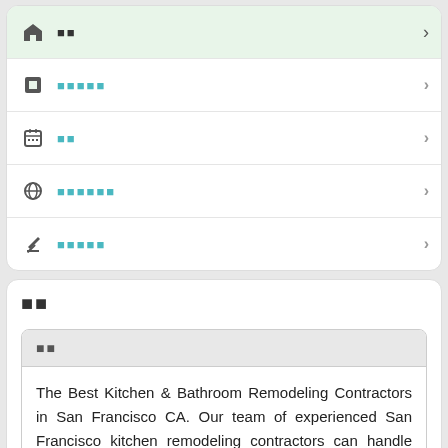홈 (home)
■■■■■ (redacted)
일정 (schedule)
●■■■■■■ (redacted)
■■■■■ (redacted)
설명
설명
The Best Kitchen & Bathroom Remodeling Contractors in San Francisco CA. Our team of experienced San Francisco kitchen remodeling contractors can handle both residential and commercial projects. We can